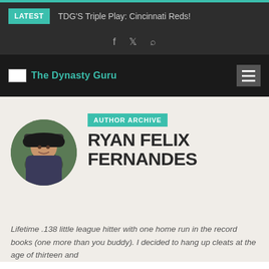LATEST  TDG'S Triple Play: Cincinnati Reds!
The Dynasty Guru
[Figure (photo): Circular author photo of Ryan Felix Fernandes, a man wearing a dark cap and jacket, smiling outdoors]
AUTHOR ARCHIVE
RYAN FELIX FERNANDES
Lifetime .138 little league hitter with one home run in the record books (one more than you buddy). I decided to hang up cleats at the age of thirteen and